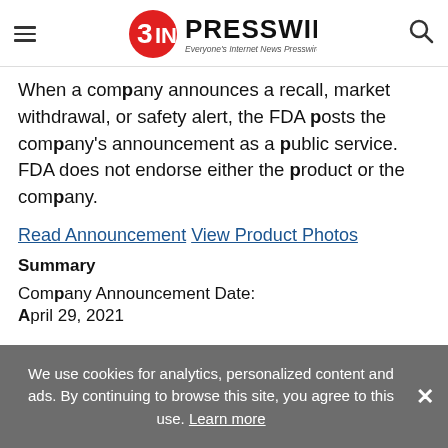EIN PRESSWIRE — Everyone's Internet News Presswire
When a company announces a recall, market withdrawal, or safety alert, the FDA posts the company's announcement as a public service. FDA does not endorse either the product or the company.
Read Announcement  View Product Photos
Summary
Company Announcement Date:
April 29, 2021
We use cookies for analytics, personalized content and ads. By continuing to browse this site, you agree to this use. Learn more